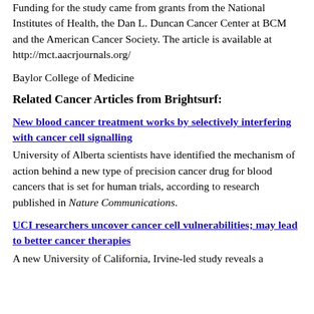Funding for the study came from grants from the National Institutes of Health, the Dan L. Duncan Cancer Center at BCM and the American Cancer Society. The article is available at http://mct.aacrjournals.org/
Baylor College of Medicine
Related Cancer Articles from Brightsurf:
New blood cancer treatment works by selectively interfering with cancer cell signalling
University of Alberta scientists have identified the mechanism of action behind a new type of precision cancer drug for blood cancers that is set for human trials, according to research published in Nature Communications.
UCI researchers uncover cancer cell vulnerabilities; may lead to better cancer therapies
A new University of California, Irvine-led study reveals a